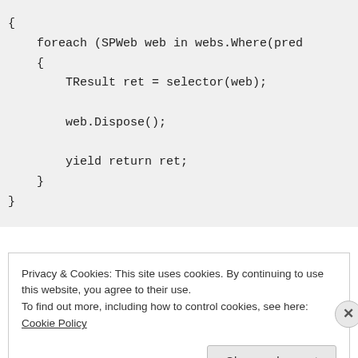{
    foreach (SPWeb web in webs.Where(pred
    {
        TResult ret = selector(web);

        web.Dispose();

        yield return ret;
    }
}
Privacy & Cookies: This site uses cookies. By continuing to use this website, you agree to their use.
To find out more, including how to control cookies, see here: Cookie Policy